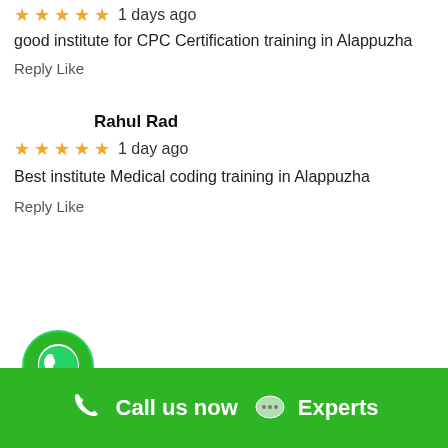★★★★★ 1 days ago
good institute for CPC Certification training in Alappuzha
Reply Like
Rahul Rad
★★★★★ 1 day ago
Best institute Medical coding training in Alappuzha
Reply Like
[Figure (logo): WhatsApp green circular button with phone/chat icon]
Call us now  Experts